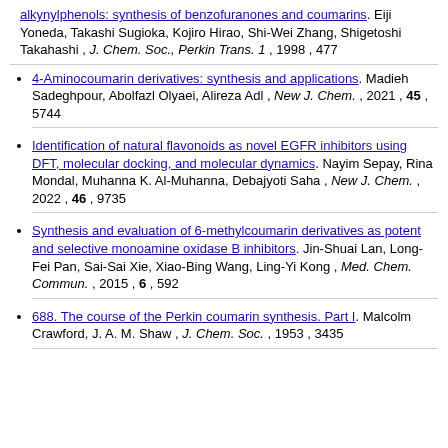alkynylphenols: synthesis of benzofuranones and coumarins. Eiji Yoneda, Takashi Sugioka, Kojiro Hirao, Shi-Wei Zhang, Shigetoshi Takahashi , J. Chem. Soc., Perkin Trans. 1 , 1998 , 477
4-Aminocoumarin derivatives: synthesis and applications. Madieh Sadeghpour, Abolfazl Olyaei, Alireza Adl , New J. Chem. , 2021 , 45 , 5744
Identification of natural flavonoids as novel EGFR inhibitors using DFT, molecular docking, and molecular dynamics. Nayim Sepay, Rina Mondal, Muhanna K. Al-Muhanna, Debajyoti Saha , New J. Chem. , 2022 , 46 , 9735
Synthesis and evaluation of 6-methylcoumarin derivatives as potent and selective monoamine oxidase B inhibitors. Jin-Shuai Lan, Long-Fei Pan, Sai-Sai Xie, Xiao-Bing Wang, Ling-Yi Kong , Med. Chem. Commun. , 2015 , 6 , 592
688. The course of the Perkin coumarin synthesis. Part I. Malcolm Crawford, J. A. M. Shaw , J. Chem. Soc. , 1953 , 3435